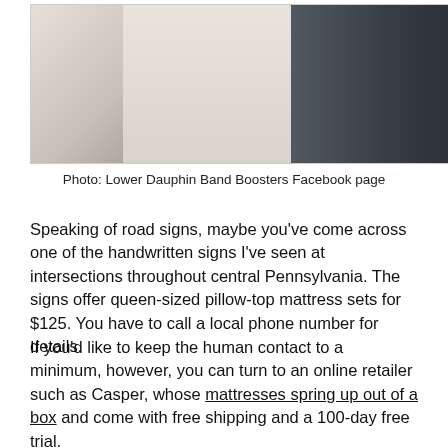[Figure (photo): Photo showing people, one in a white textured outfit, against a dark background with filing cabinet or shelving.]
Photo: Lower Dauphin Band Boosters Facebook page
Speaking of road signs, maybe you've come across one of the handwritten signs I've seen at intersections throughout central Pennsylvania. The signs offer queen-sized pillow-top mattress sets for $125. You have to call a local phone number for details.
If you'd like to keep the human contact to a minimum, however, you can turn to an online retailer such as Casper, whose mattresses spring up out of a box and come with free shipping and a 100-day free trial.